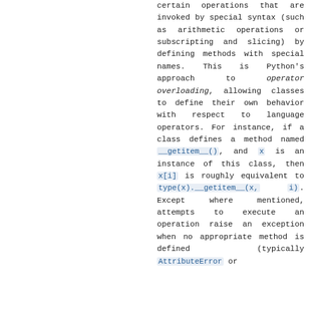certain operations that are invoked by special syntax (such as arithmetic operations or subscripting and slicing) by defining methods with special names. This is Python's approach to operator overloading, allowing classes to define their own behavior with respect to language operators. For instance, if a class defines a method named __getitem__(), and x is an instance of this class, then x[i] is roughly equivalent to type(x).__getitem__(x, i). Except where mentioned, attempts to execute an operation raise an exception when no appropriate method is defined (typically AttributeError or